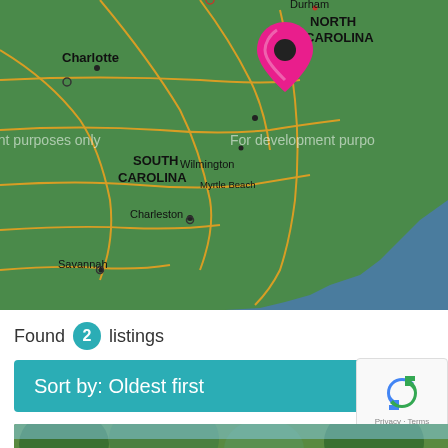[Figure (map): Map of southeastern United States (North Carolina, South Carolina, Georgia coast). Shows Charlotte, Durham, Wilmington, Myrtle Beach, Charleston, Savannah. Pink map pin marker near Wilmington NC coastline. Watermark text: 'For development purposes only'.]
Found 2 listings
Sort by: Oldest first
[Figure (photo): Partial photo strip showing trees and sky at bottom of page.]